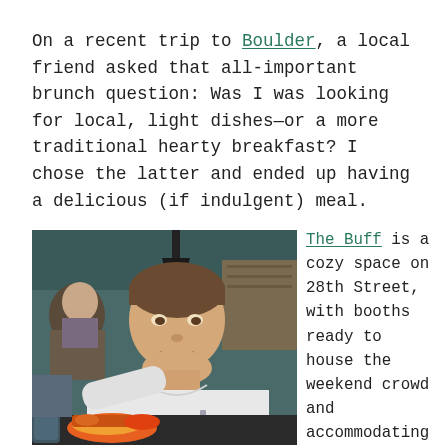On a recent trip to Boulder, a local friend asked that all-important brunch question: Was I was looking for local, light dishes—or a more traditional hearty breakfast? I chose the latter and ended up having a delicious (if indulgent) meal.
[Figure (photo): A young man in a white polo shirt sitting at a restaurant table with food in front of him, background shows other diners and restaurant interior]
The Buff is a cozy space on 28th Street, with booths ready to house the weekend crowd and accommodating servers happy to swap out...